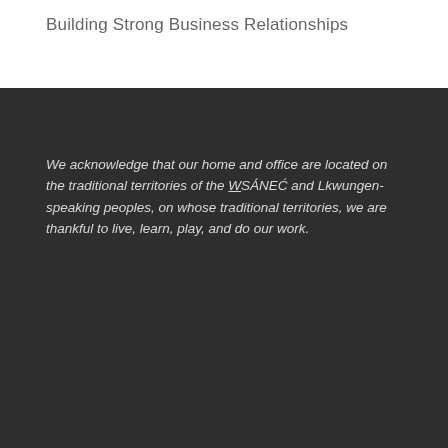Building Strong Business Relationships
We acknowledge that our home and office are located on the traditional territories of the WSÁNEĆ and Lkwungen-speaking peoples, on whose traditional territories, we are thankful to live, learn, play, and do our work.